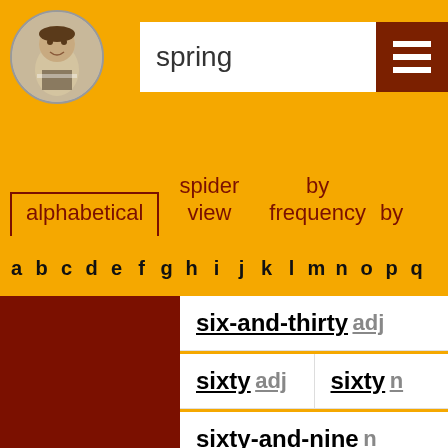[Figure (illustration): Shakespeare portrait in circular frame]
spring
alphabetical
spider view
by frequency
by
a b c d e f g h i j k l m n o p q
six-and-thirty adj
sixty adj
sixty n
sixty-and-nine n